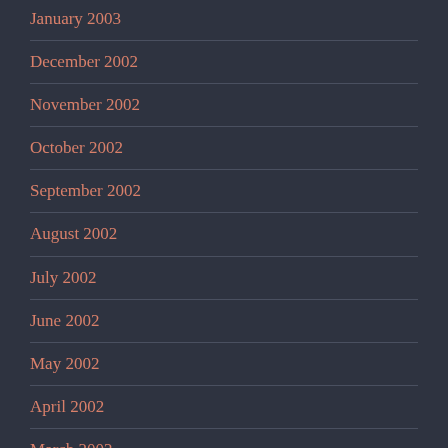January 2003
December 2002
November 2002
October 2002
September 2002
August 2002
July 2002
June 2002
May 2002
April 2002
March 2002
February 2002